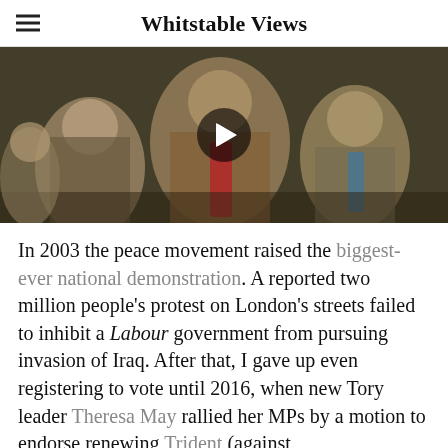Whitstable Views
[Figure (photo): Video thumbnail showing politicians seated in what appears to be a parliamentary chamber, with a play button overlay indicating a video]
In 2003 the peace movement raised the biggest-ever national demonstration. A reported two million people's protest on London's streets failed to inhibit a Labour government from pursuing invasion of Iraq. After that, I gave up even registering to vote until 2016, when new Tory leader Theresa May rallied her MPs by a motion to endorse renewing Trident (against